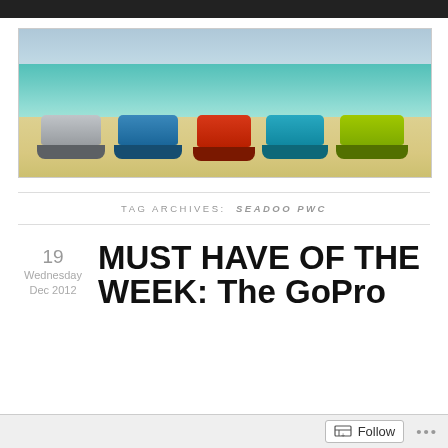[Figure (photo): Five Sea-Doo PWC personal watercraft lined up on a sandy beach with turquoise ocean and blue sky behind them. Colors from left to right: silver/grey, blue, red/orange, teal, yellow-green.]
TAG ARCHIVES: SEADOO PWC
MUST HAVE OF THE WEEK: The GoPro
19
Wednesday
Dec 2012